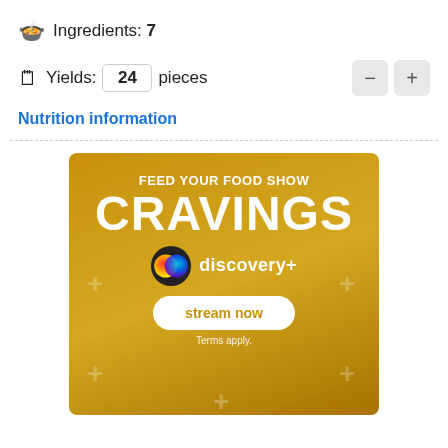🍲 Ingredients: 7
🗒 Yields: 24 pieces
Nutrition information
[Figure (infographic): Discovery+ advertisement banner with gold background. Text reads 'FEED YOUR FOOD SHOW CRAVINGS' with the Discovery+ logo and a 'stream now' button. Terms apply.]